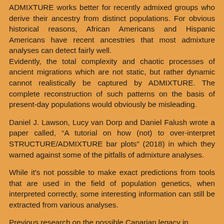ADMIXTURE works better for recently admixed groups who derive their ancestry from distinct populations. For obvious historical reasons, African Americans and Hispanic Americans have recent ancestries that most admixture analyses can detect fairly well.
Evidently, the total complexity and chaotic processes of ancient migrations which are not static, but rather dynamic cannot realistically be captured by ADMIXTURE. The complete reconstruction of such patterns on the basis of present-day populations would obviously be misleading.
Daniel J. Lawson, Lucy van Dorp and Daniel Falush wrote a paper called, “A tutorial on how (not) to over-interpret STRUCTURE/ADMIXTURE bar plots” (2018) in which they warned against some of the pitfalls of admixture analyses.
While it's not possible to make exact predictions from tools that are used in the field of population genetics, when interpreted correctly, some interesting information can still be extracted from various analyses.
Previous research on the possible Canarian legacy in